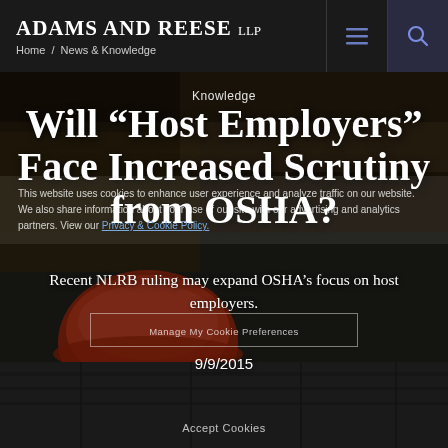Adams and Reese LLP — Home / News & Knowledge
[Figure (photo): Construction site background photo showing a red hard hat on concrete blocks/rebar, with a dark overlay. A cookie consent notice is overlaid on the image.]
Knowledge
Will “Host Employers” Face Increased Scrutiny from OSHA?
Recent NLRB ruling may expand OSHA’s focus on host employers.
9/9/2015
This website uses cookies to enhance user experience and analyze traffic on our website. We also share information about your use of our site with our advertising and analytics partners. View our Privacy & Cookie Policy.
Manage My Cookie Preferences
Accept Cookies